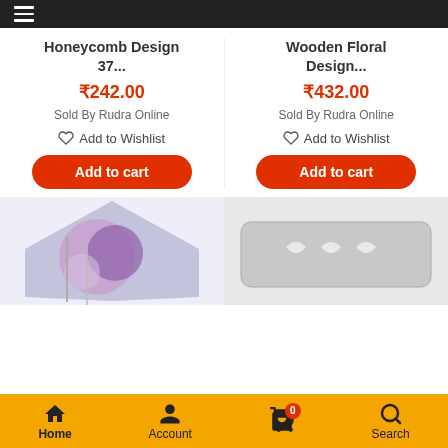Navigation menu
Honeycomb Design 37...
₹242.00
Sold By Rudra Online
Add to Wishlist
Add to cart
Wooden Floral Design...
₹432.00
Sold By Rudra Online
Add to Wishlist
Add to cart
[Figure (photo): Hexagonal silicone product with floral design, purple tones]
[Figure (photo): Rectangular wooden product with heart cutouts, grey tones]
Home | Account | 0 | Search